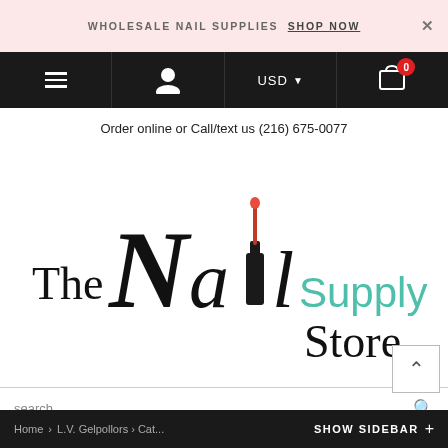WHOLESALE NAIL SUPPLIES SHOP NOW
[Figure (screenshot): Navigation bar with hamburger menu, user icon, USD currency selector, and shopping cart with badge showing 0]
Order online or Call/text us (216) 675-0077
[Figure (logo): The Nail Supply Store logo with decorative script lettering and nail polish bottle illustration. 'The' in serif, 'Nail' in decorative script with nail polish bottle as the letter 'i', 'Supply' in teal/mint color, 'Store' in black serif.]
search
Home › L.V. Gelpollors › Cat... SHOW SIDEBAR +